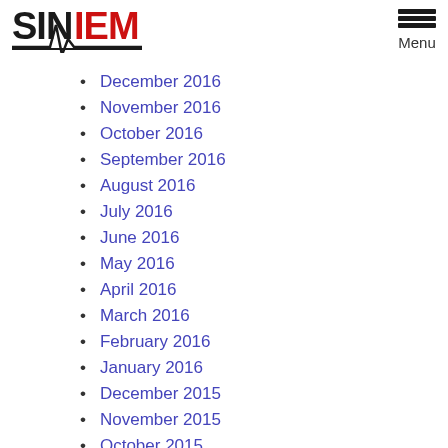[Figure (logo): SINAIEM logo with ECG waveline graphic in black and red]
December 2016
November 2016
October 2016
September 2016
August 2016
July 2016
June 2016
May 2016
April 2016
March 2016
February 2016
January 2016
December 2015
November 2015
October 2015
September 2015